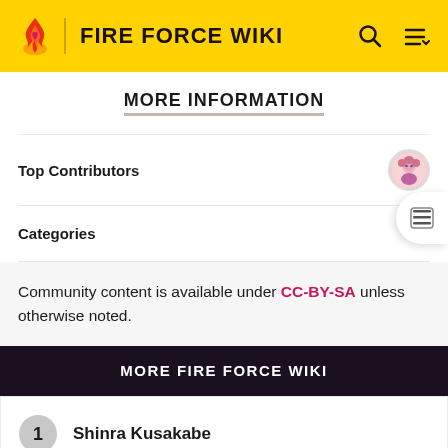FIRE FORCE WIKI
MORE INFORMATION
Top Contributors
Categories
Community content is available under CC-BY-SA unless otherwise noted.
MORE FIRE FORCE WIKI
1 Shinra Kusakabe